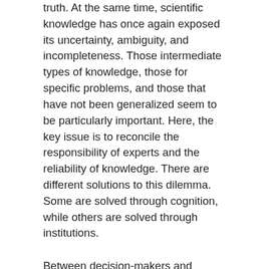truth. At the same time, scientific knowledge has once again exposed its uncertainty, ambiguity, and incompleteness. Those intermediate types of knowledge, those for specific problems, and those that have not been generalized seem to be particularly important. Here, the key issue is to reconcile the responsibility of experts and the reliability of knowledge. There are different solutions to this dilemma. Some are solved through cognition, while others are solved through institutions.
Between decision-makers and experts, the interaction between the two is determined by knowledge and the content and meaning of knowledge, and its content and meaning are all related to the interests and goals of participants. At present, the interdependent relationship between consultants and decision-makers, and the phenomenon of knowledge and decision produced by their fusion, are different from the linear characteristics of earlier scientific consulting mechanisms. It is essential to note, that the truth of scientific knowledge cannot be sacrificed for the sake of politics, nor can the issue of